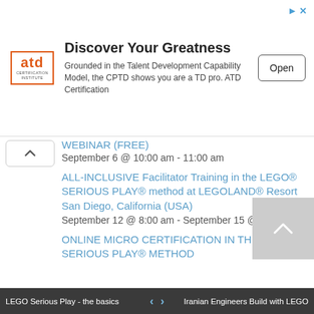[Figure (other): ATD Certification Institute advertisement banner with logo, headline 'Discover Your Greatness', description text, and Open button]
WEBINAR (FREE)
September 6 @ 10:00 am - 11:00 am
ALL-INCLUSIVE Facilitator Training in the LEGO® SERIOUS PLAY® method at LEGOLAND® Resort San Diego, California (USA)
September 12 @ 8:00 am - September 15 @ 5:00 pm
ONLINE MICRO CERTIFICATION IN THE LEGO® SERIOUS PLAY® METHOD
LEGO Serious Play - the basics   ‹   ›   Iranian Engineers Build with LEGO